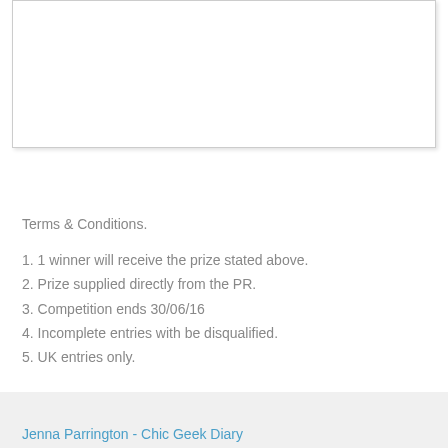[Figure (other): White image/media box with light border and shadow]
Terms & Conditions.
1. 1 winner will receive the prize stated above.
2. Prize supplied directly from the PR.
3. Competition ends 30/06/16
4. Incomplete entries with be disqualified.
5. UK entries only.
Jenna Parrington - Chic Geek Diary